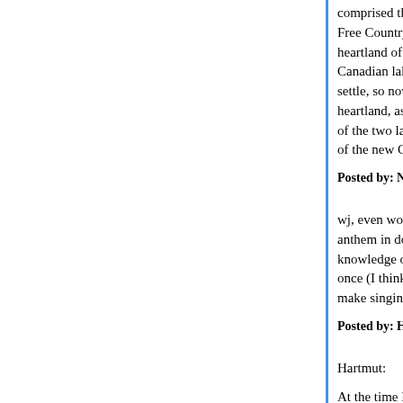comprised the area of this country--but when now... Free Country more and more shifts from east to w... heartland of North America, the land between the... Canadian lakes, in which now the sons of the hea... settle, so now gains in significance, yes, blooms,... heartland, as actual heart point of the whole kingo... of the two largest rivers of North America--may w... of the new Germany on the other side of the ocea...
Posted by: Ned | February 07, 2016 at 03:27 PM
wj, even worse up to at least WW2 there were off... anthem in dozens of languages, so people could... knowledge of English. I have seen the text of the... once (I think at David Neiwerts' Orcinus blog). Th... make singing the anthem in anything but English...
Posted by: Hartmut | February 07, 2016 at 03:31 PM
Hartmut:
At the time Nagel was writing it was perfectly logi... capital of the West" -- it remained more populous...